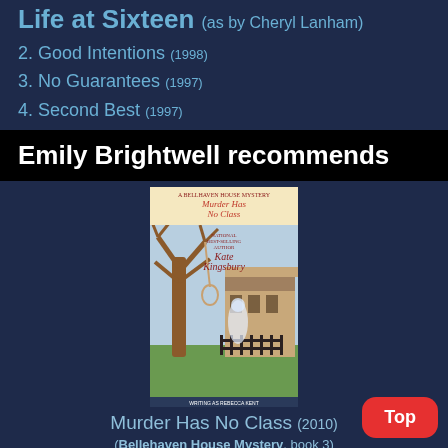Life at Sixteen (as by Cheryl Lanham)
2. Good Intentions (1998)
3. No Guarantees (1997)
4. Second Best (1997)
Emily Brightwell recommends
[Figure (photo): Book cover of 'Murder Has No Class' - A Bellhaven House Mystery by Kate Kingsbury, writing as Rebecca Kent. Shows a gnarled bare tree with a noose, a ghostly figure, and a mansion in the background.]
Murder Has No Class (2010)
(Bellehaven House Mystery, book 3)
Rebecca Kent
"Wonderful storytelling, a delightful sleuth, and a charming Edwardian